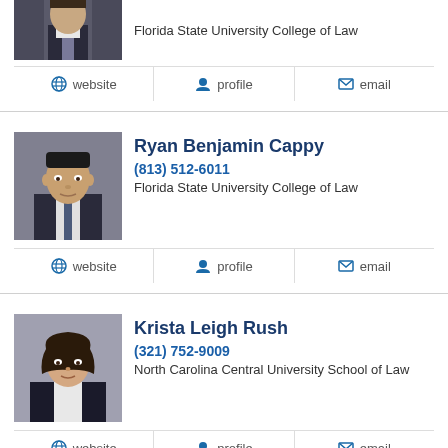[Figure (photo): Partial photo of a person at top of page, cropped]
Florida State University College of Law
website   profile   email
[Figure (photo): Headshot of Ryan Benjamin Cappy, man in suit]
Ryan Benjamin Cappy
(813) 512-6011
Florida State University College of Law
website   profile   email
[Figure (photo): Headshot of Krista Leigh Rush, woman in black jacket]
Krista Leigh Rush
(321) 752-9009
North Carolina Central University School of Law
website   profile   email